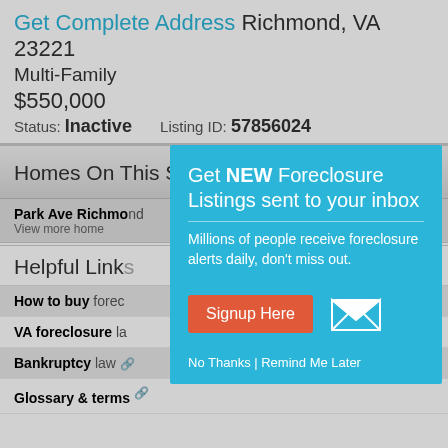Get Complete Address Richmond, VA 23221
Multi-Family
$550,000
Status: Inactive   Listing ID: 57856024
Homes On This Street
Park Ave Richmond
View more home
Helpful Link
How to buy forec
VA foreclosure la
Bankruptcy law
Glossary & terms
[Figure (screenshot): Modal popup: Get NEW Foreclosure Listings sent to your inbox. Millions of people receive foreclosure alerts daily, don't miss out. Signup Here button. No Thanks | Remind Me Later links.]